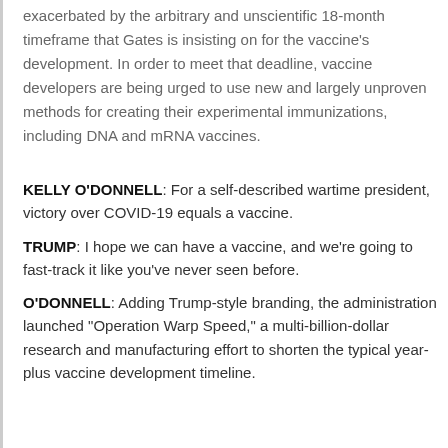This specific issue regarding coronavirus vaccines is exacerbated by the arbitrary and unscientific 18-month timeframe that Gates is insisting on for the vaccine's development. In order to meet that deadline, vaccine developers are being urged to use new and largely unproven methods for creating their experimental immunizations, including DNA and mRNA vaccines.
KELLY O'DONNELL: For a self-described wartime president, victory over COVID-19 equals a vaccine.
TRUMP: I hope we can have a vaccine, and we're going to fast-track it like you've never seen before.
O'DONNELL: Adding Trump-style branding, the administration launched "Operation Warp Speed," a multi-billion-dollar research and manufacturing effort to shorten the typical year-plus vaccine development timeline.